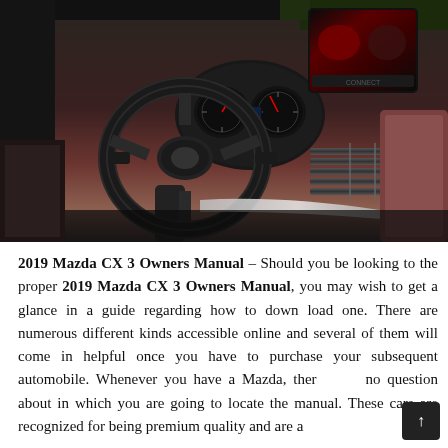[Figure (photo): Interior photo of a Mazda CX-3 showing the steering wheel, dashboard, gauge cluster, and infotainment screen mounted on the center console. The interior features dark leather and reddish-brown trim.]
2019 Mazda CX 3 Owners Manual – Should you be looking to the proper 2019 Mazda CX 3 Owners Manual, you may wish to get a glance in a guide regarding how to down load one. There are numerous different kinds accessible online and several of them will come in helpful once you have to purchase your subsequent automobile. Whenever you have a Mazda, there no question about in which you are going to locate the manual. These cars are recognized for being premium quality and are a